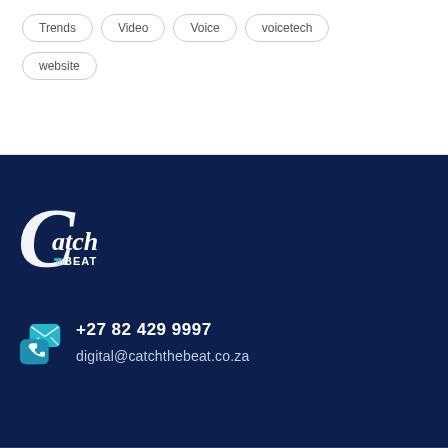Trends
Video
Voice
voicetech
website
[Figure (logo): Catch the Beat logo in white and teal on dark navy background]
+27 82 429 9997
digital@catchthebeat.co.za